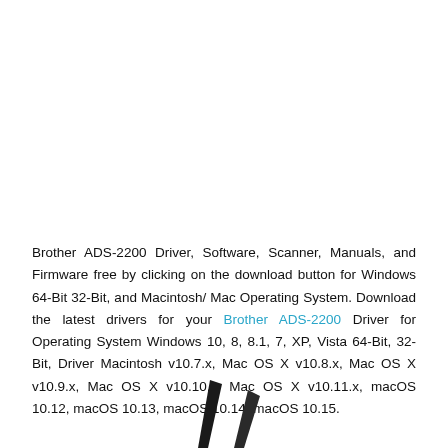Brother ADS-2200 Driver, Software, Scanner, Manuals, and Firmware free by clicking on the download button for Windows 64-Bit 32-Bit, and Macintosh/ Mac Operating System. Download the latest drivers for your Brother ADS-2200 Driver for Operating System Windows 10, 8, 8.1, 7, XP, Vista 64-Bit, 32-Bit, Driver Macintosh v10.7.x, Mac OS X v10.8.x, Mac OS X v10.9.x, Mac OS X v10.10.x, Mac OS X v10.11.x, macOS 10.12, macOS 10.13, macOS 10.14, macOS 10.15.
[Figure (illustration): Partial view of what appears to be two dark diagonal slash or check mark shapes at the bottom of the page, likely part of a larger graphic or logo cropped at the page edge.]